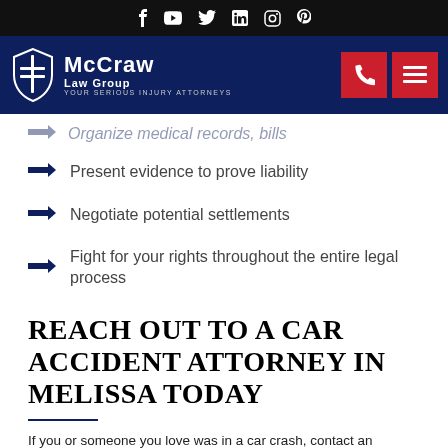McCraw Law Group - Your Serious Injury Attorneys (navigation header with social bar)
Organize medical records, bills [partial/cut off]
Present evidence to prove liability
Negotiate potential settlements
Fight for your rights throughout the entire legal process
REACH OUT TO A CAR ACCIDENT ATTORNEY IN MELISSA TODAY
If you or someone you love was in a car crash, contact an experienced Melissa car accident lawyer. An attorney can help determine who is liable for the accident and fight for the compensation you deserve.